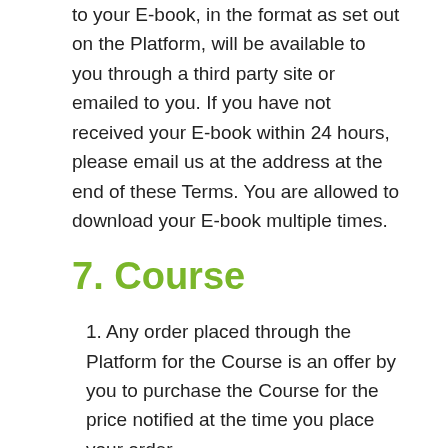to your E-book, in the format as set out on the Platform, will be available to you through a third party site or emailed to you. If you have not received your E-book within 24 hours, please email us at the address at the end of these Terms. You are allowed to download your E-book multiple times.
7. Course
1. Any order placed through the Platform for the Course is an offer by you to purchase the Course for the price notified at the time you place your order.
2. You must pay us the purchase price of the Course (Course Price) as set out on the Platform and create an account at the time you place your order.
3. Once the Course Price has been paid in full, you will receive access to the Course through your account as set out on the Platform and lifetime